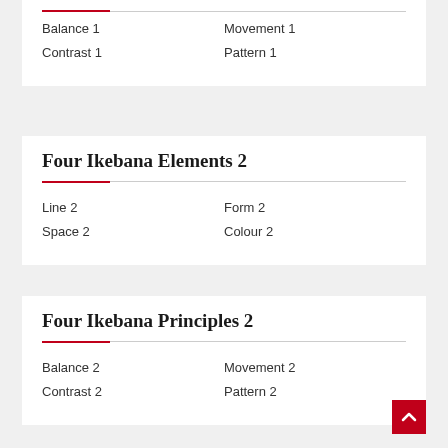Balance 1
Movement 1
Contrast 1
Pattern 1
Four Ikebana Elements 2
Line 2
Form 2
Space 2
Colour 2
Four Ikebana Principles 2
Balance 2
Movement 2
Contrast 2
Pattern 2